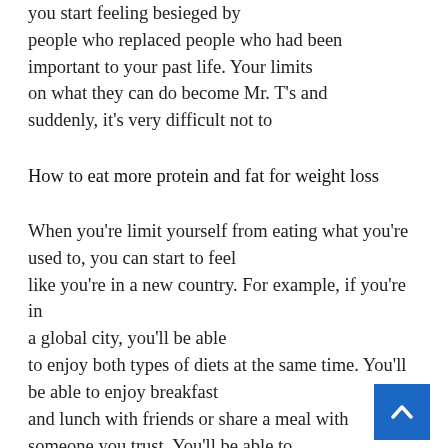you start feeling besieged by people who replaced people who had been important to your past life. Your limits on what they can do become Mr. T's and suddenly, it's very difficult not to
How to eat more protein and fat for weight loss
When you're limit yourself from eating what you're used to, you can start to feel like you're in a new country. For example, if you're in a global city, you'll be able to enjoy both types of diets at the same time. You'll be able to enjoy breakfast and lunch with friends or share a meal with someone you trust. You'll be able to enjoy your x XPANICS products and neighborhoods as if they were your own.